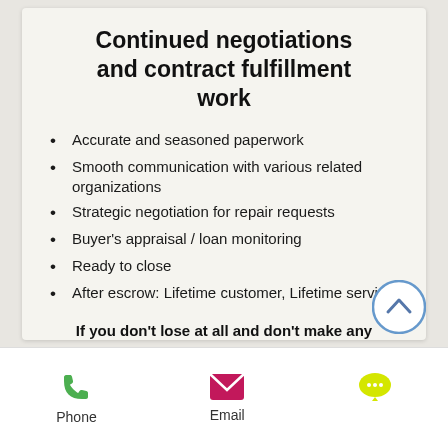Continued negotiations and contract fulfillment work
Accurate and seasoned paperwork
Smooth communication with various related organizations
Strategic negotiation for repair requests
Buyer's appraisal / loan monitoring
Ready to close
After escrow: Lifetime customer, Lifetime service
If you don't lose at all and don't make any concessions, you can miss the line. There is nowhere for sentiment to occupy in real estate transaction
Phone
Email